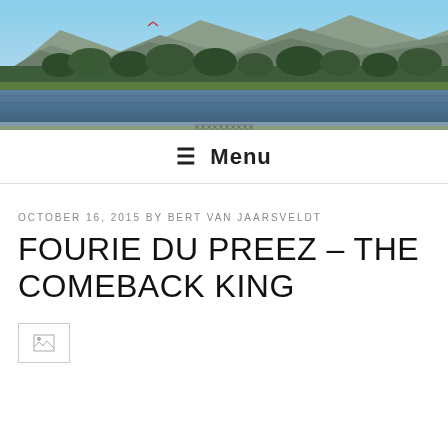[Figure (photo): Landscape photograph showing a lake or river in the foreground with lush green trees and mountains in the background under a blue sky. Partially obscured text at the bottom of the image.]
≡ Menu
OCTOBER 16, 2015 BY BERT VAN JAARSVELDT
FOURIE DU PREEZ – THE COMEBACK KING
[Figure (photo): Broken/missing image placeholder icon]